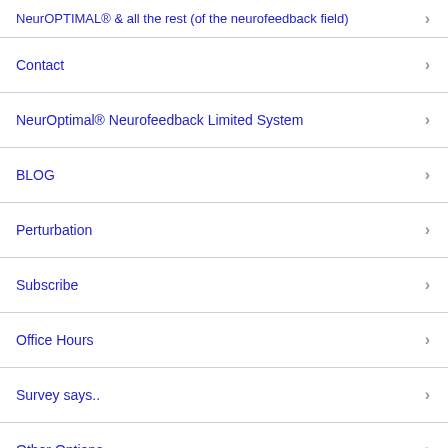NeurOPTIMAL® & all the rest (of the neurofeedback field)
Contact
NeurOptimal® Neurofeedback Limited System
BLOG
Perturbation
Subscribe
Office Hours
Survey says..
Other Options
Contact